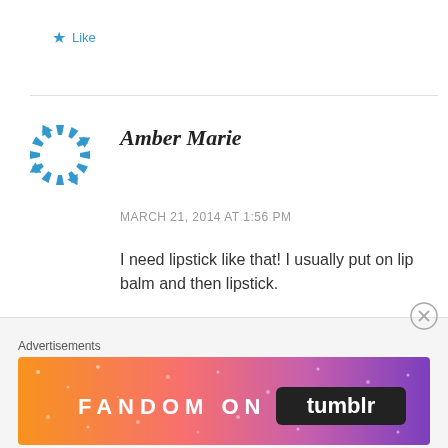Like
[Figure (illustration): Blue circular arrow/loading icon avatar for Amber Marie]
Amber Marie
MARCH 21, 2014 AT 1:56 PM
I need lipstick like that! I usually put on lip balm and then lipstick.
Like
Advertisements
[Figure (illustration): Fandom on Tumblr advertisement banner with colorful gradient background]